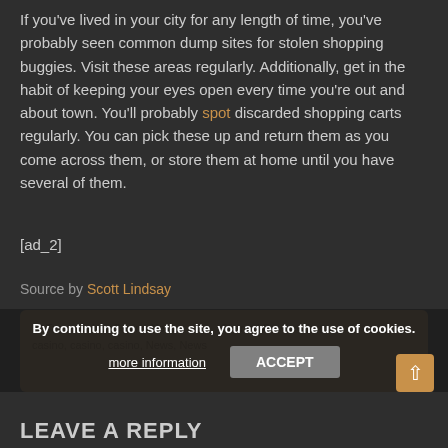If you've lived in your city for any length of time, you've probably seen common dump sites for stolen shopping buggies. Visit these areas regularly. Additionally, get in the habit of keeping your eyes open every time you're out and about town. You'll probably spot discarded shopping carts regularly. You can pick these up and return them as you come across them, or store them at home until you have several of them.
[ad_2]
Source by Scott Lindsay
Tags: casino, Casino News, Casino News, casino, casino, News, News
By continuing to use the site, you agree to the use of cookies.
LEAVE A REPLY